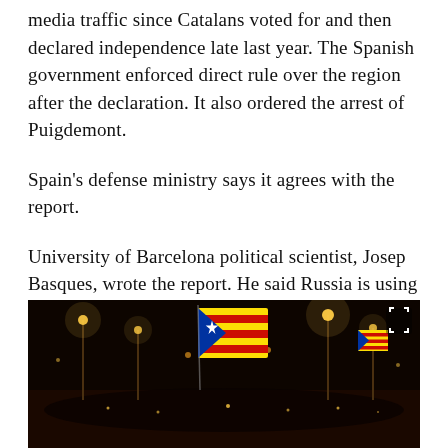media traffic since Catalans voted for and then declared independence late last year. The Spanish government enforced direct rule over the region after the declaration. It also ordered the arrest of Puigdemont.
Spain's defense ministry says it agrees with the report.
University of Barcelona political scientist, Josep Basques, wrote the report. He said Russia is using Spain's conflict to weaken NATO. He also said similar efforts could be repeated in other European countries with pro-independence movements.
[Figure (photo): Night-time crowd scene with Catalan independence flag (Estelada) waving, street lights visible in background, dark atmosphere]